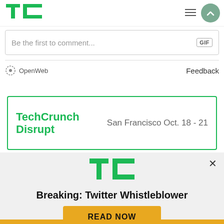TechCrunch logo, hamburger menu, user button
Be the first to comment...
[Figure (logo): OpenWeb logo with gear icon]
Feedback
[Figure (infographic): TechCrunch Disrupt card: San Francisco Oct. 18 - 21]
[Figure (logo): TechCrunch TC logo large green]
Breaking: Twitter Whistleblower
READ NOW